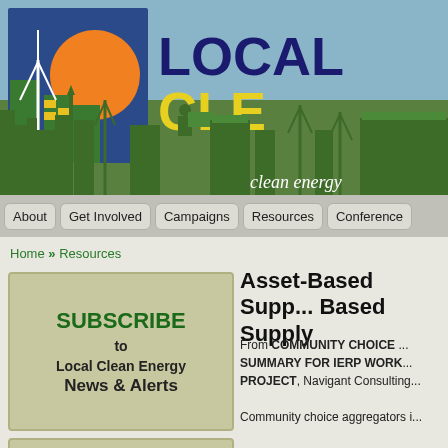[Figure (logo): Local Clean Energy website header banner with logo showing wind turbine, solar panels, sun and city skyline. Text reads LOCAL CLE... clean energy]
About | Get Involved | Campaigns | Resources | Conference
Home » Resources
SUBSCRIBE to Local Clean Energy News & Alerts
Asset-Based Supp... Based Supply
From COMMUNITY CHOICE ... SUMMARY FOR IERP WORK... PROJECT, Navigant Consulting...
Community choice aggregators i...